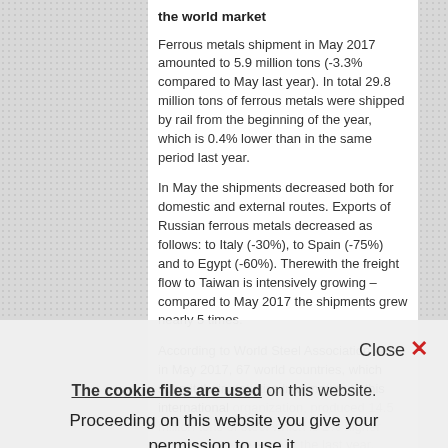the world market
Ferrous metals shipment in May 2017 amounted to 5.9 million tons (-3.3% compared to May last year). In total 29.8 million tons of ferrous metals were shipped by rail from the beginning of the year, which is 0.4% lower than in the same period last year.
In May the shipments decreased both for domestic and external routes. Exports of Russian ferrous metals decreased as follows: to Italy (-30%), to Spain (-75%) and to Egypt (-60%). Therewith the freight flow to Taiwan is intensively growing – compared to May 2017 the shipments grew nearly 5 times.
According to World Steel Association data, in May 2017, 67 world countries, which submit their statistics information to this international organization, produced 14.5 million tons of steel which is 2% higher compared to the level of the last year.
The cookie files are used on this website. Proceeding on this website you give your permission to use it.